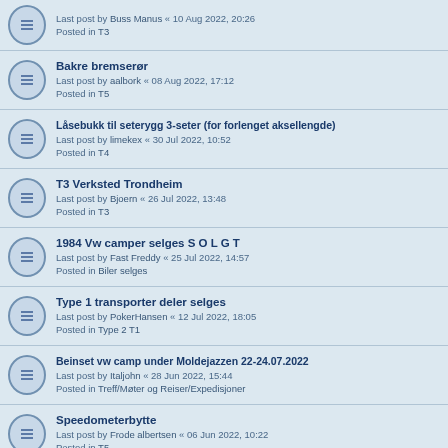Last post by Buss Manus « 10 Aug 2022, 20:26
Posted in T3
Bakre bremserør
Last post by aalbork « 08 Aug 2022, 17:12
Posted in T5
Låsebukk til seterygg 3-seter (for forlenget aksellengde)
Last post by limekex « 30 Jul 2022, 10:52
Posted in T4
T3 Verksted Trondheim
Last post by Bjoern « 26 Jul 2022, 13:48
Posted in T3
1984 Vw camper selges S O L G T
Last post by Fast Freddy « 25 Jul 2022, 14:57
Posted in Biler selges
Type 1 transporter deler selges
Last post by PokerHansen « 12 Jul 2022, 18:05
Posted in Type 2 T1
Beinset vw camp under Moldejazzen 22-24.07.2022
Last post by Italjohn « 28 Jun 2022, 15:44
Posted in Treff/Møter og Reiser/Expedisjoner
Speedometerbytte
Last post by Frode albertsen « 06 Jun 2022, 10:22
Posted in T5
Dimmer til instrumentpanel/dashbord
Last post by Bayo « 15 May 2022, 15:55
Posted in T5